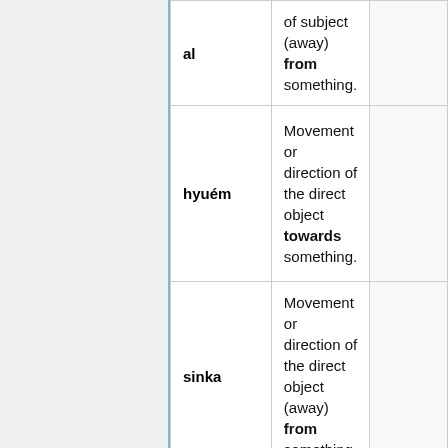| Term | Definition |  |
| --- | --- | --- |
| al | of subject (away) from something. |  |
| hyuém | Movement or direction of the direct object towards something. |  |
| sinka | Movement or direction of the direct object (away) from something. |  |
| jung | Into something |  |
| goel | Out of something |  |